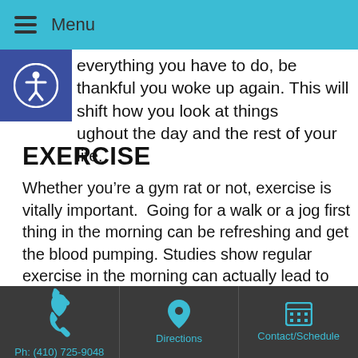Menu
everything you have to do, be thankful you woke up again. This will shift how you look at things throughout the day and the rest of your life.
EXERCISE
Whether you’re a gym rat or not, exercise is vitally important.  Going for a walk or a jog first thing in the morning can be refreshing and get the blood pumping. Studies show regular exercise in the morning can actually lead to more energy the next day.
MEDITATE/PRAY
Ph: (410) 725-9048 | Directions | Contact/Schedule